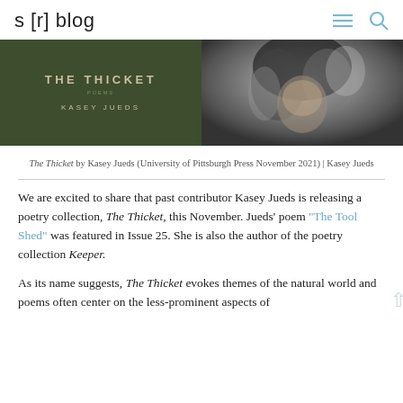s [r] blog
[Figure (photo): Two images side by side: left is book cover of 'The Thicket' by Kasey Jueds on dark olive background; right is a black and white portrait photo of Kasey Jueds]
The Thicket by Kasey Jueds (University of Pittsburgh Press November 2021) | Kasey Jueds
We are excited to share that past contributor Kasey Jueds is releasing a poetry collection, The Thicket, this November. Jueds' poem "The Tool Shed" was featured in Issue 25. She is also the author of the poetry collection Keeper.
As its name suggests, The Thicket evokes themes of the natural world and poems often center on the less-prominent aspects of